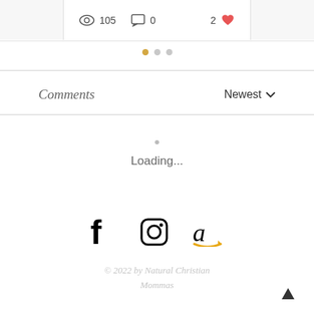[Figure (screenshot): Blog post card bottom strip showing view count (105), comment count (0), and like count (2 with heart icon)]
[Figure (infographic): Carousel pagination dots: one filled gold dot and two grey dots]
Comments
Newest
Loading...
[Figure (logo): Social media icons: Facebook, Instagram, Amazon]
© 2022 by Natural Christian Mommas